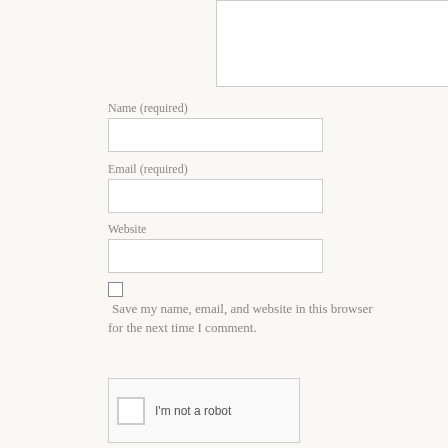[Figure (screenshot): Textarea input box (comment field) at top, partially visible]
Name (required)
[Figure (screenshot): Name input text field]
Email (required)
[Figure (screenshot): Email input text field]
Website
[Figure (screenshot): Website input text field]
Save my name, email, and website in this browser for the next time I comment.
[Figure (screenshot): reCAPTCHA widget with checkbox and 'I'm not a robot' text]